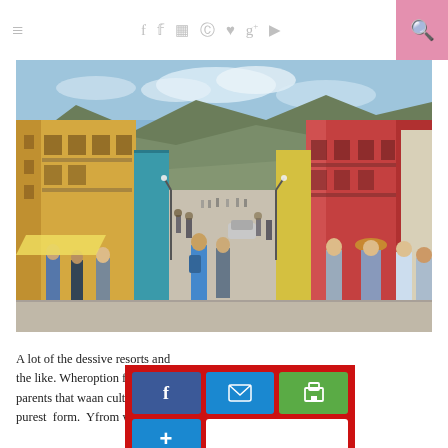≡  f  𝕪  ☷  ⊕  ♥  g+  ▶  🔍
[Figure (photo): Street scene in Oaxaca, Mexico — a wide pedestrian street lined with colorful colonial buildings in yellow, red, and other colors, filled with crowds of people walking, with mountains visible in the background under a blue sky.]
A lot of the destinations ... sive resorts and the like. When ... option for the parents that wa... an culture in its purest form. Y... from walking